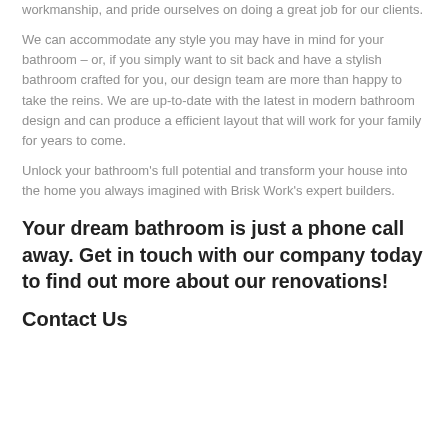workmanship, and pride ourselves on doing a great job for our clients.
We can accommodate any style you may have in mind for your bathroom – or, if you simply want to sit back and have a stylish bathroom crafted for you, our design team are more than happy to take the reins. We are up-to-date with the latest in modern bathroom design and can produce a efficient layout that will work for your family for years to come.
Unlock your bathroom's full potential and transform your house into the home you always imagined with Brisk Work's expert builders.
Your dream bathroom is just a phone call away. Get in touch with our company today to find out more about our renovations!
Contact Us